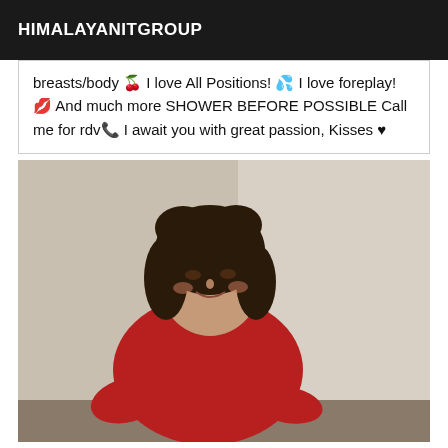HIMALAYANITGROUP
breasts/body 🍒 I love All Positions! 💦 I love foreplay! 💋 And much more SHOWER BEFORE POSSIBLE Call me for rdv📞 I await you with great passion, Kisses ♥
[Figure (photo): A woman with dark curly hair wearing a red top, leaning forward, photographed in an indoor setting with light-colored walls.]